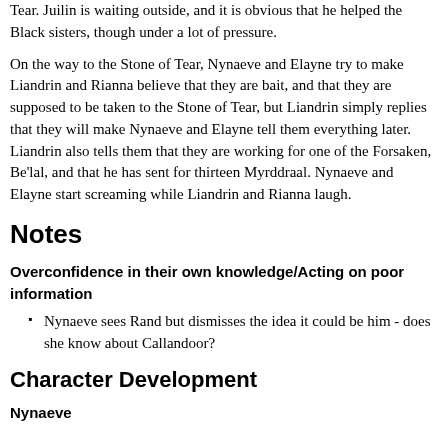Tear. Juilin is waiting outside, and it is obvious that he helped the Black sisters, though under a lot of pressure.
On the way to the Stone of Tear, Nynaeve and Elayne try to make Liandrin and Rianna believe that they are bait, and that they are supposed to be taken to the Stone of Tear, but Liandrin simply replies that they will make Nynaeve and Elayne tell them everything later. Liandrin also tells them that they are working for one of the Forsaken, Be'lal, and that he has sent for thirteen Myrddraal. Nynaeve and Elayne start screaming while Liandrin and Rianna laugh.
Notes
Overconfidence in their own knowledge/Acting on poor information
Nynaeve sees Rand but dismisses the idea it could be him - does she know about Callandoor?
Character Development
Nynaeve